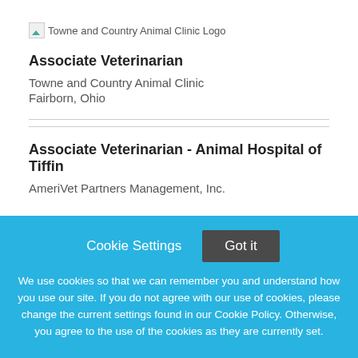[Figure (logo): Towne and Country Animal Clinic Logo — broken image placeholder with alt text]
Associate Veterinarian
Towne and Country Animal Clinic
Fairborn, Ohio
Associate Veterinarian - Animal Hospital of Tiffin
AmeriVet Partners Management, Inc.
Cookie Settings   Got it
We use cookies so that we can remember you and understand how you use our site. If you do not agree with our use of cookies, please change the current settings found in our Cookie Policy. Otherwise, you agree to the use of the cookies as they are currently set.